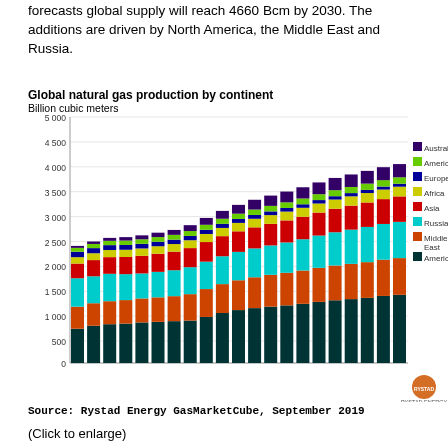forecasts global supply will reach 4660 Bcm by 2030. The additions are driven by North America, the Middle East and Russia.
[Figure (stacked-bar-chart): Global natural gas production by continent]
Source: Rystad Energy GasMarketCube, September 2019
(Click to enlarge)